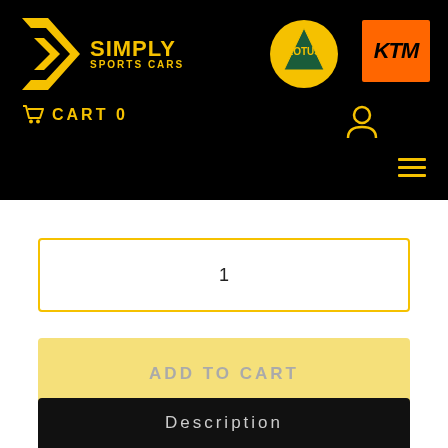[Figure (logo): Simply Sports Cars logo with yellow chevron arrows and text, Lotus circular logo, KTM orange rectangular logo on black header background]
CART 0
1
ADD TO CART
Description